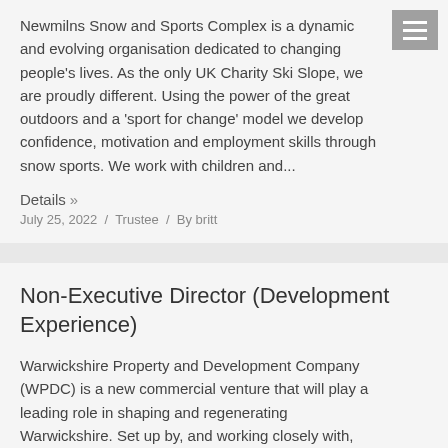Newmilns Snow and Sports Complex is a dynamic and evolving organisation dedicated to changing people's lives. As the only UK Charity Ski Slope, we are proudly different. Using the power of the great outdoors and a 'sport for change' model we develop confidence, motivation and employment skills through snow sports. We work with children and...
Details »
July 25, 2022 / Trustee / By britt
Non-Executive Director (Development Experience)
Warwickshire Property and Development Company (WPDC) is a new commercial venture that will play a leading role in shaping and regenerating Warwickshire. Set up by, and working closely with,